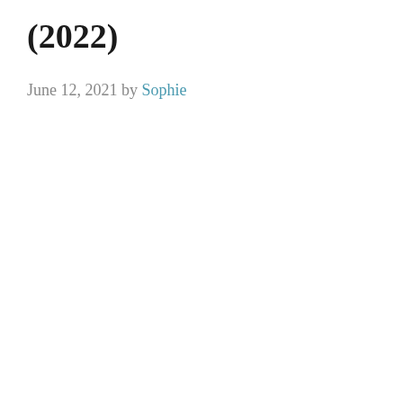(2022)
June 12, 2021 by Sophie